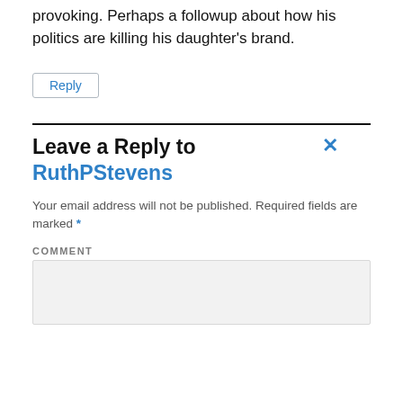provoking. Perhaps a followup about how his politics are killing his daughter's brand.
Reply
Leave a Reply to RuthPStevens ×
Your email address will not be published. Required fields are marked *
COMMENT